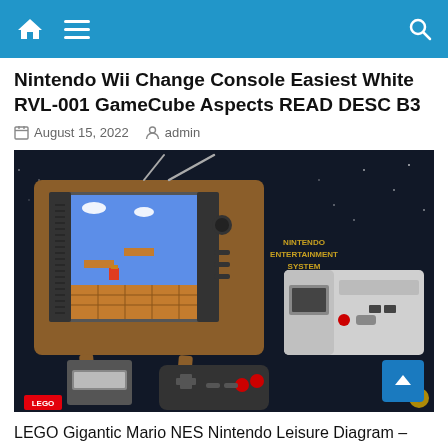Nintendo Wii Change Console Easiest White RVL-001 GameCube Aspects READ DESC B3
August 15, 2022   admin
[Figure (photo): LEGO Nintendo Entertainment System set showing a retro TV with Super Mario Bros game displayed on screen, NES console, cartridge, and controller on a dark background]
LEGO Gigantic Mario NES Nintendo Leisure Diagram – 71374 BRAND NEW SEALED